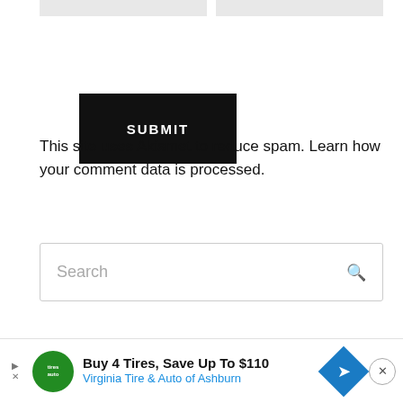[Figure (screenshot): Top portion showing two gray input/form bars side by side]
[Figure (screenshot): Black SUBMIT button]
This site uses Akismet to reduce spam. Learn how your comment data is processed.
[Figure (screenshot): Search input box with placeholder text 'Search' and a search icon on the right]
TRENDING REPORTS
[Figure (screenshot): Navigation arrows: left arrow (inactive) and right arrow (active/bordered)]
[Figure (screenshot): Advertisement banner: Buy 4 Tires, Save Up To $110, Virginia Tire & Auto of Ashburn]